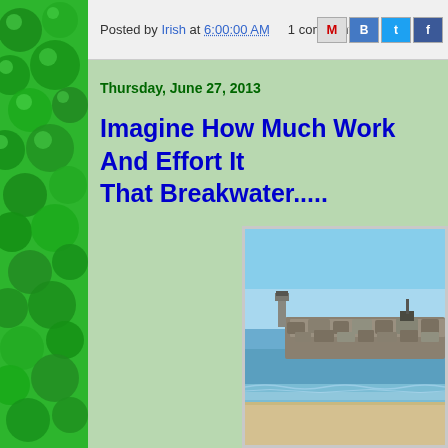[Figure (illustration): Green decorative left sidebar with round bubble/circle pattern in various shades of green]
Posted by Irish at 6:00:00 AM    1 comment:
Thursday, June 27, 2013
Imagine How Much Work And Effort It... That Breakwater.....
[Figure (photo): Outdoor photo of a breakwater/jetty made of large rocks extending into calm water, with a blue sky background and sandy beach in foreground]